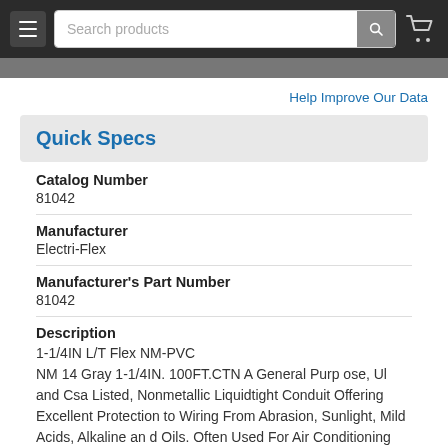[Figure (screenshot): Website navigation bar with hamburger menu, search box with placeholder 'Search products', search button, and cart icon on dark background]
Help Improve Our Data
Quick Specs
Catalog Number
81042
Manufacturer
Electri-Flex
Manufacturer's Part Number
81042
Description
1-1/4IN L/T Flex NM-PVC
NM 14 Gray 1-1/4IN. 100FT.CTN A General Purpose, Ul and Csa Listed, Nonmetallic Liquidtight Conduit Offering Excellent Protection to Wiring From Abrasion, Sunlight, Mild Acids, Alkaline and Oils. Often Used For Air Conditioning Hook-Ups and Other Outdoor Applications.